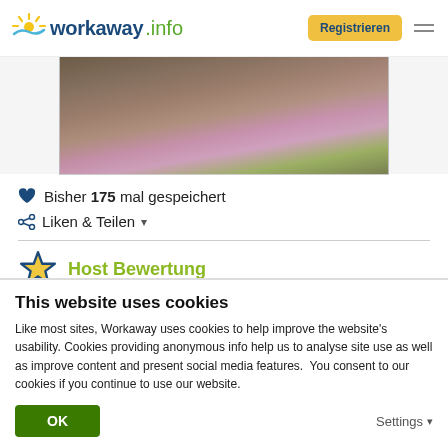workaway.info | Registrieren
[Figure (photo): Partial photo of a person in a garden with pink flowers, shown from mid-top, cropped at top and bottom]
♥ Bisher 175 mal gespeichert
< Liken & Teilen ▾
Host Bewertung
This website uses cookies
Like most sites, Workaway uses cookies to help improve the website's usability. Cookies providing anonymous info help us to analyse site use as well as improve content and present social media features.  You consent to our cookies if you continue to use our website.
OK
Settings